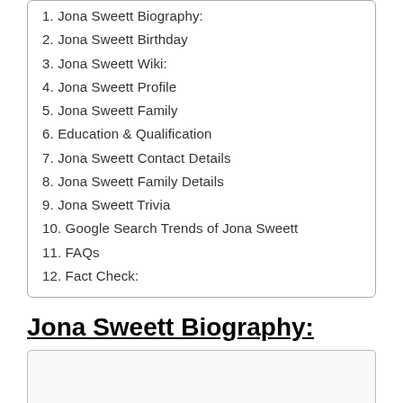1. Jona Sweett Biography:
2. Jona Sweett Birthday
3. Jona Sweett Wiki:
4. Jona Sweett Profile
5. Jona Sweett Family
6. Education & Qualification
7. Jona Sweett Contact Details
8. Jona Sweett Family Details
9. Jona Sweett Trivia
10. Google Search Trends of Jona Sweett
11. FAQs
12. Fact Check:
Jona Sweett Biography:
[Figure (other): Empty image placeholder box for Jona Sweett Biography section]